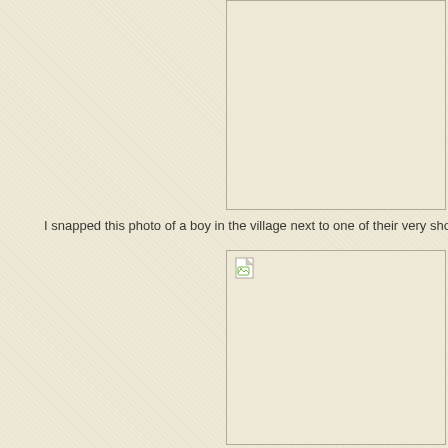[Figure (photo): A photo placeholder box in the upper right portion of the page, showing a blank/empty image area with a light border.]
I snapped this photo of a boy in the village next to one of their very short huts
[Figure (photo): A second photo placeholder box in the lower right portion of the page with a broken image icon in the upper left corner, showing a blank/empty image area.]